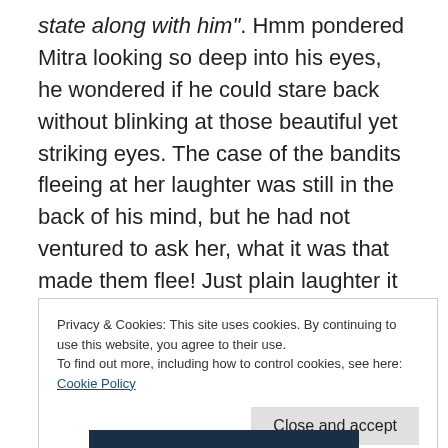state along with him". Hmm pondered Mitra looking so deep into his eyes, he wondered if he could stare back without blinking at those beautiful yet striking eyes. The case of the bandits fleeing at her laughter was still in the back of his mind, but he had not ventured to ask her, what it was that made them flee! Just plain laughter it could not be, there was something more, but some times the glance and her ever knowing face curbed him to voice his thoughts.
Privacy & Cookies: This site uses cookies. By continuing to use this website, you agree to their use. To find out more, including how to control cookies, see here: Cookie Policy
Close and accept